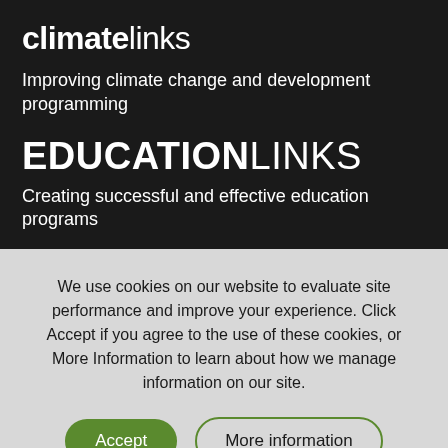climatelinks
Improving climate change and development programming
EDUCATIONLINKS
Creating successful and effective education programs
We use cookies on our website to evaluate site performance and improve your experience. Click Accept if you agree to the use of these cookies, or More Information to learn about how we manage information on our site.
Accept
More information